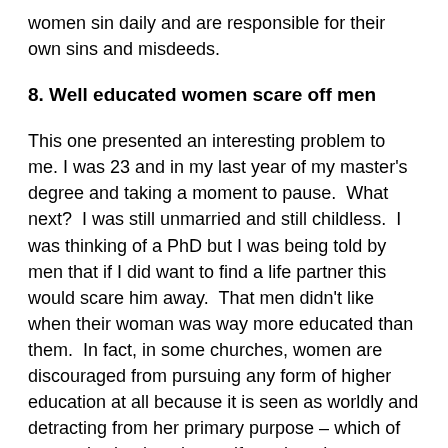women sin daily and are responsible for their own sins and misdeeds.
8. Well educated women scare off men
This one presented an interesting problem to me. I was 23 and in my last year of my master's degree and taking a moment to pause.  What next?  I was still unmarried and still childless.  I was thinking of a PhD but I was being told by men that if I did want to find a life partner this would scare him away.  That men didn't like when their woman was way more educated than them.  In fact, in some churches, women are discouraged from pursuing any form of higher education at all because it is seen as worldly and detracting from her primary purpose – which of course is simply to be a wife and mother.
In my own experience, though, this is nothing less than a farce.  I have dated men of very conservative cultures and all